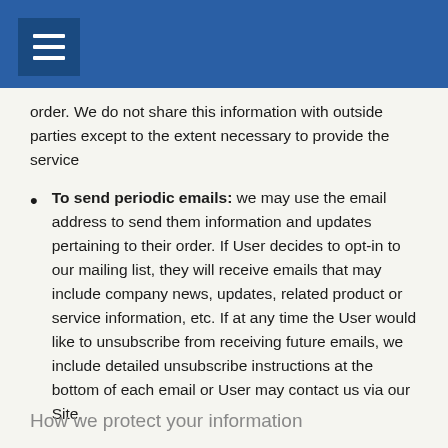order. We do not share this information with outside parties except to the extent necessary to provide the service
To send periodic emails: we may use the email address to send them information and updates pertaining to their order. If User decides to opt-in to our mailing list, they will receive emails that may include company news, updates, related product or service information, etc. If at any time the User would like to unsubscribe from receiving future emails, we include detailed unsubscribe instructions at the bottom of each email or User may contact us via our Site.
How we protect your information